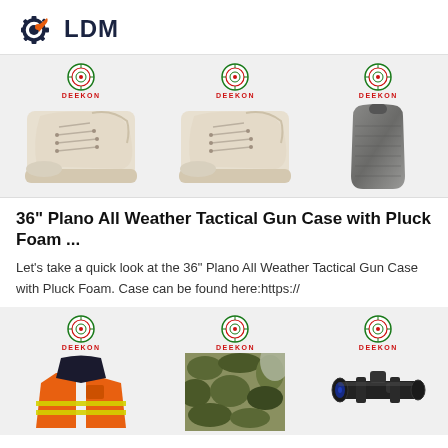[Figure (logo): LDM logo with gear icon and orange wrench, dark navy text]
[Figure (photo): Three product images: two tan/cream high-top canvas sneakers with DEEKON badges and one dark tactical body armor plate with DEEKON badge]
36" Plano All Weather Tactical Gun Case with Pluck Foam ...
Let's take a quick look at the 36" Plano All Weather Tactical Gun Case with Pluck Foam. Case can be found here:https://
[Figure (photo): Three product images: orange high-visibility jacket, camouflage fabric, and rifle scope with DEEKON badges]